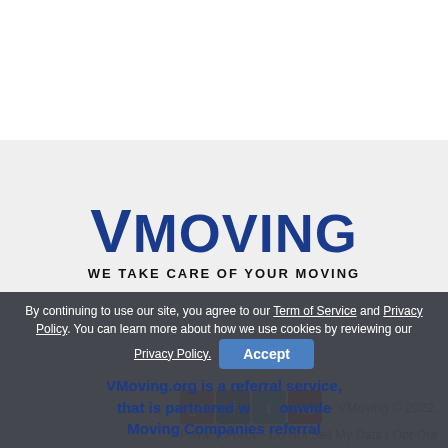[Figure (logo): VMoving logo with large blue bold text 'VMOVING' and tagline 'WE TAKE CARE OF YOUR MOVING' below]
[Figure (infographic): Social media icons for Google+, Facebook, Twitter, YouTube followed by copyright text '- VMoving © 2022,']
Privacy Policy - Do Not Sell My Data / Opt-Out -
Author: Maggie Stewarts
By continuing to use our site, you agree to our Term of Service and Privacy Policy. You can learn more about how we use cookies by reviewing our Privacy Policy.
VMoving.org is a referral service, that is partnered with nationwide Moving Companies referral